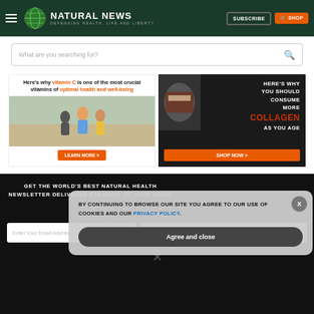[Figure (logo): Natural News website header with logo globe, NATURAL NEWS text, DEFENDING HEALTH LIFE AND LIBERTY tagline, SUBSCRIBE and SHOP buttons]
What are you searching for?
[Figure (photo): Left ad banner: Here's why vitamin C is one of the most crucial vitamins of optimal health and well-being, with LEARN MORE button and people running photo]
[Figure (photo): Right ad banner: HERE'S WHY YOU SHOULD CONSUME MORE COLLAGEN AS YOU AGE with SHOP NOW button and collagen product photo]
GET THE WORLD'S BEST NATURAL HEALTH NEWSLETTER DELIVERED STRAIGHT TO YOUR INBOX
Enter Your Email Address
SUBSCRIBE
BY CONTINUING TO BROWSE OUR SITE YOU AGREE TO OUR USE OF COOKIES AND OUR PRIVACY POLICY.
Agree and close